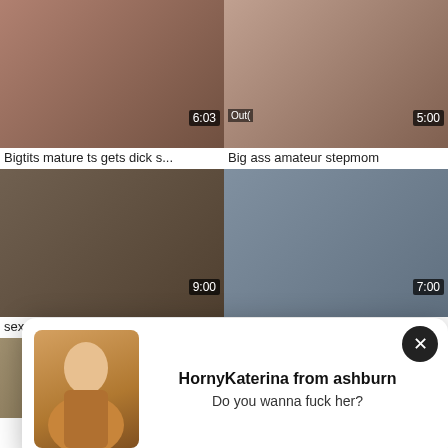[Figure (screenshot): Video thumbnail grid showing adult video website with 6 visible thumbnails and a popup notification]
Bigtits mature ts gets dick s...
Big ass amateur stepmom
sex amateur francais avec le ...
Amateur emo teen jerking a...
HornyKaterina from ashburn
Do you wanna fuck her?